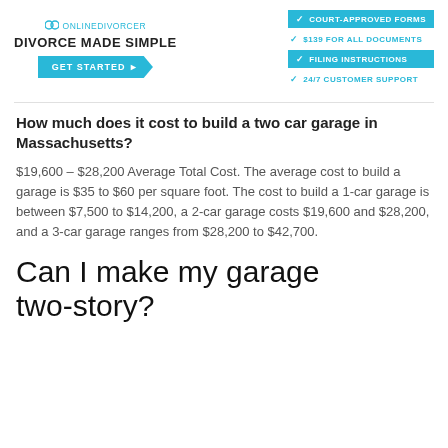[Figure (logo): OnlineDivorcer advertisement banner with logo, 'DIVORCE MADE SIMPLE' tagline, GET STARTED button, and feature list: COURT-APPROVED FORMS, $139 FOR ALL DOCUMENTS, FILING INSTRUCTIONS, 24/7 CUSTOMER SUPPORT]
How much does it cost to build a two car garage in Massachusetts?
$19,600 – $28,200 Average Total Cost. The average cost to build a garage is $35 to $60 per square foot. The cost to build a 1-car garage is between $7,500 to $14,200, a 2-car garage costs $19,600 and $28,200, and a 3-car garage ranges from $28,200 to $42,700.
Can I make my garage two-story?